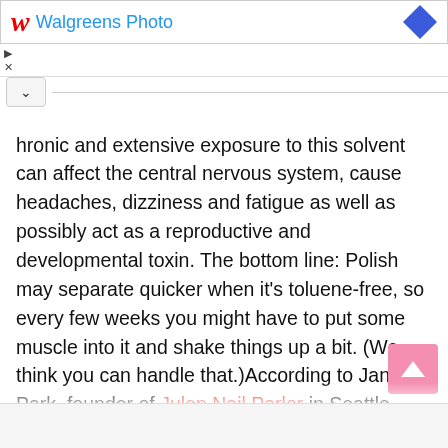[Figure (screenshot): Walgreens Photo advertisement banner with red W logo and blue text, with a blue diamond shape on the right]
hronic and extensive exposure to this solvent can affect the central nervous system, cause headaches, dizziness and fatigue as well as possibly act as a reproductive and developmental toxin. The bottom line: Polish may separate quicker when it's toluene-free, so every few weeks you might have to put some muscle into it and shake things up a bit. (We think you can handle that.)According to Jane Park, founder of Julep Nail Parlor in Seattle, Washington, you won't even miss dropping the above from your polish vocab. “Polish that doesn’t contain these ingredients stays on nails for as long and is just as shiny as those that do, and you can rest easy knowing that they’re not affecting your health,” she says